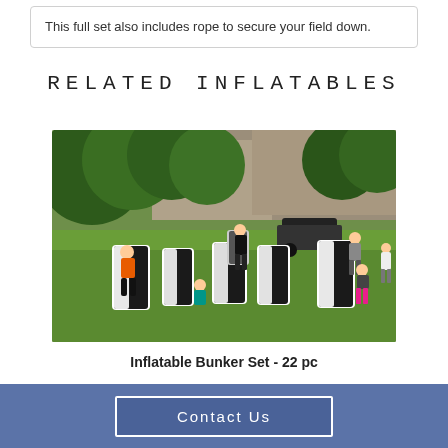This full set also includes rope to secure your field down.
RELATED INFLATABLES
[Figure (photo): Outdoor paintball/dodgeball field with inflatable black and white bunkers on grass. Several people including children are playing around the bunkers. Dense green trees and a rocky cliff face visible in the background. A black vehicle is parked near the trees.]
Inflatable Bunker Set - 22 pc
Contact Us